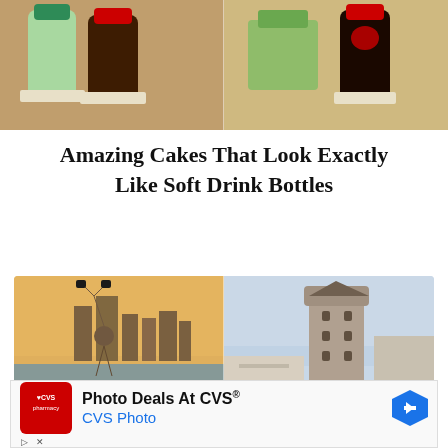[Figure (photo): Two photos side by side showing cakes shaped like soft drink bottles (including Sprite and Coca-Cola), placed on a wooden table surface, partially cropped at top of page.]
Amazing Cakes That Look Exactly Like Soft Drink Bottles
[Figure (photo): Two photos side by side: left shows an acrobat performing a handstand near New York City skyline waterfront; right shows the Galata Tower in Istanbul with surrounding buildings.]
This artist has Best Tower the...
[Figure (other): Advertisement banner for CVS Photo showing CVS Pharmacy logo, text 'Photo Deals At CVS® CVS Photo', and a blue navigation arrow icon on the right.]